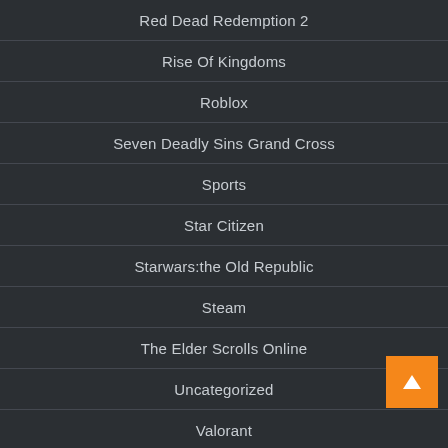Red Dead Redemption 2
Rise Of Kingdoms
Roblox
Seven Deadly Sins Grand Cross
Sports
Star Citizen
Starwars:the Old Republic
Steam
The Elder Scrolls Online
Uncategorized
Valorant